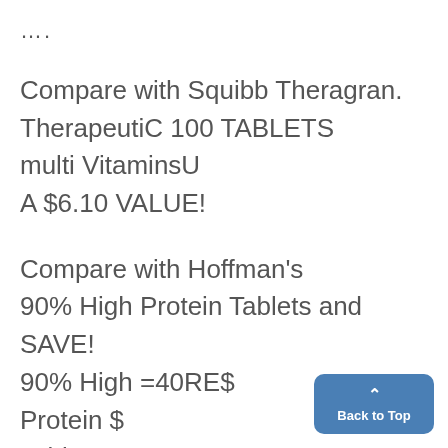....
Compare with Squibb Theragran. TherapeutiC 100 TABLETS multi VitaminsU A $6.10 VALUE!
Compare with Hoffman's 90% High Protein Tablets and SAVE! 90% High =40RE$ Protein $ Tablets 400TABLETS NOW ONLY $2.49 Deluxe Gourmet